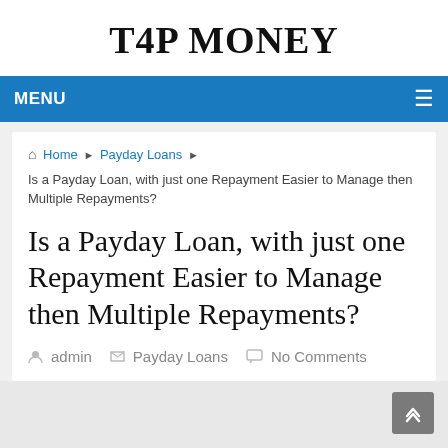T4P MONEY
MENU
Home ▶ Payday Loans ▶ Is a Payday Loan, with just one Repayment Easier to Manage then Multiple Repayments?
Is a Payday Loan, with just one Repayment Easier to Manage then Multiple Repayments?
admin  Payday Loans  No Comments